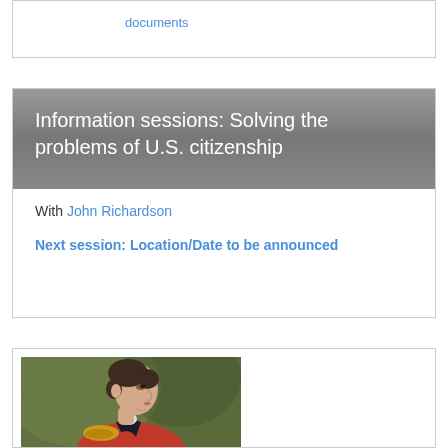documents
Information sessions: Solving the problems of U.S. citizenship
With John Richardson
Next session: Location/Date to be announced
[Figure (photo): Portrait painting of a man in a red military uniform with gold epaulettes, viewed in profile facing right, against a dark green/brown background]